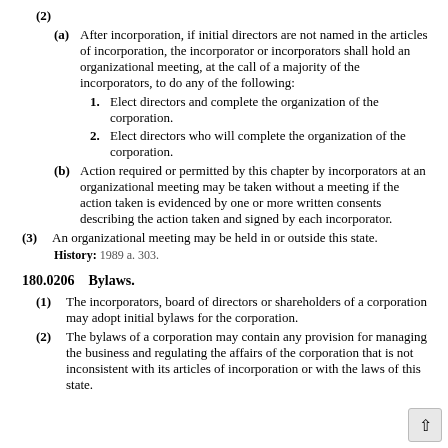(2)
(a) After incorporation, if initial directors are not named in the articles of incorporation, the incorporator or incorporators shall hold an organizational meeting, at the call of a majority of the incorporators, to do any of the following:
1. Elect directors and complete the organization of the corporation.
2. Elect directors who will complete the organization of the corporation.
(b) Action required or permitted by this chapter by incorporators at an organizational meeting may be taken without a meeting if the action taken is evidenced by one or more written consents describing the action taken and signed by each incorporator.
(3) An organizational meeting may be held in or outside this state.
History: 1989 a. 303.
180.0206    Bylaws.
(1) The incorporators, board of directors or shareholders of a corporation may adopt initial bylaws for the corporation.
(2) The bylaws of a corporation may contain any provision for managing the business and regulating the affairs of the corporation that is not inconsistent with its articles of incorporation or with the laws of this state.